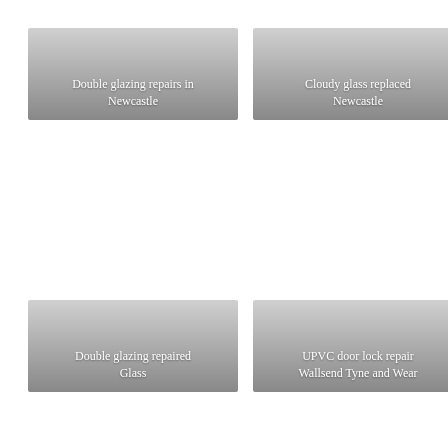[Figure (photo): Image tile with gradient overlay showing text: Double glazing repairs in Newcastle]
[Figure (photo): Image tile with gradient overlay showing text: Cloudy glass replaced Newcastle]
[Figure (photo): Image tile with gradient overlay showing text: Double glazing repaired Glass]
[Figure (photo): Image tile with gradient overlay showing text: UPVC door lock repair Wallsend Tyne and Wear]